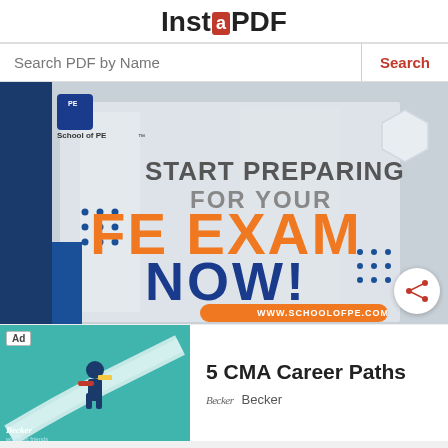InstaPDF
Search PDF by Name
[Figure (infographic): School of PE advertisement banner: 'START PREPARING FOR YOUR FE EXAM NOW!' with orange and dark blue text on light grey building background, with website URL www.schoolofpe.com]
[Figure (illustration): Becker advertisement showing a businessman with binoculars standing on a road path, teal background, with '5 CMA Career Paths' text and Becker branding]